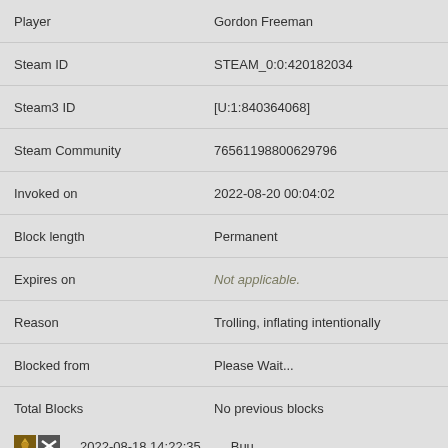| Field | Value |
| --- | --- |
| Player | Gordon Freeman |
| Steam ID | STEAM_0:0:420182034 |
| Steam3 ID | [U:1:840364068] |
| Steam Community | 76561198800629796 |
| Invoked on | 2022-08-20 00:04:02 |
| Block length | Permanent |
| Expires on | Not applicable. |
| Reason | Trolling, inflating intentionally |
| Blocked from | Please Wait... |
| Total Blocks | No previous blocks |
[icons] 2022-08-18 14:22:35   Buu
BLOCK DETAILS
| Field | Value |
| --- | --- |
| Player | Buu |
| Steam ID | STEAM_1:0:216671822 |
| Steam3 ID | [U:1:433343644] |
| Steam Community | 76561198393609372 |
| Invoked on | 2022-08-18 14:22:35 |
| Block length | 1 wk |
| Expires on | 2022-08-25 14:22:35 |